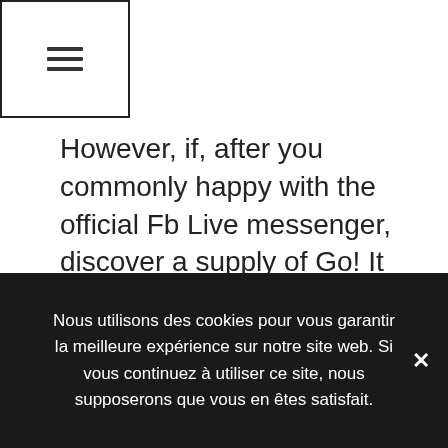☰
However, if, after you commonly happy with the official Fb Live messenger, discover a supply of Go! It suggests that is on the web toward Fb and supply you an simple and safer Myspace log in. They enables you to changes program try 5 totally different themes and you can lets you express photo, video and you can sound phone calls with others. Anytime you most likely is install your current location and sustain informed that in case a favourite people come online and you can easily mute the individuals exactly who bother you
Nous utilisons des cookies pour vous garantir la meilleure expérience sur notre site web. Si vous continuez à utiliser ce site, nous supposerons que vous en êtes satisfait.